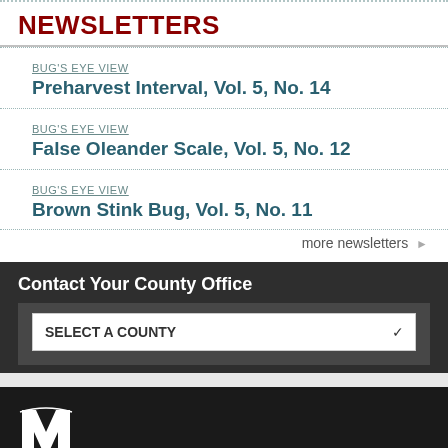NEWSLETTERS
BUG'S EYE VIEW
Preharvest Interval, Vol. 5, No. 14
BUG'S EYE VIEW
False Oleander Scale, Vol. 5, No. 12
BUG'S EYE VIEW
Brown Stink Bug, Vol. 5, No. 11
more newsletters ▶
Contact Your County Office
SELECT A COUNTY
[Figure (logo): Mississippi State University logo — block M with STATE banner, white on dark background]